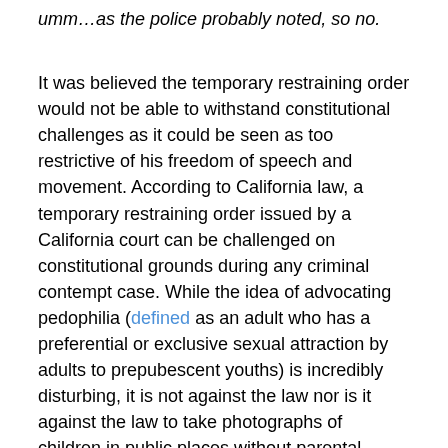umm…as the police probably noted, so no.
It was believed the temporary restraining order would not be able to withstand constitutional challenges as it could be seen as too restrictive of his freedom of speech and movement. According to California law, a temporary restraining order issued by a California court can be challenged on constitutional grounds during any criminal contempt case. While the idea of advocating pedophilia (defined as an adult who has a preferential or exclusive sexual attraction by adults to prepubescent youths) is incredibly disturbing, it is not against the law nor is it against the law to take photographs of children in public places without parental consent.
Click here to read more on the legal dilemma of